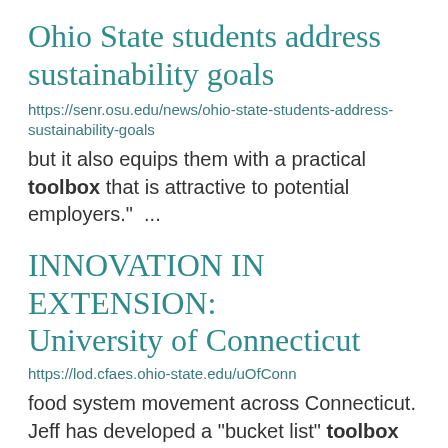Ohio State students address sustainability goals
https://senr.osu.edu/news/ohio-state-students-address-sustainability-goals
but it also equips them with a practical toolbox that is attractive to potential employers." ...
INNOVATION IN EXTENSION: University of Connecticut
https://lod.cfaes.ohio-state.edu/uOfConn
food system movement across Connecticut. Jeff has developed a "bucket list" toolbox for new ...